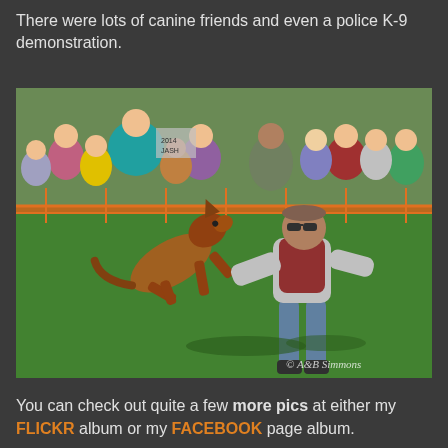There were lots of canine friends and even a police K-9 demonstration.
[Figure (photo): Outdoor police K-9 demonstration: a Belgian Malinois dog lunging toward a man in a padded protective suit on a grass field, with a crowd of spectators behind an orange fence in the background. Watermark reads '© A&B Simmons'.]
You can check out quite a few more pics at either my FLICKR album or my FACEBOOK page album.